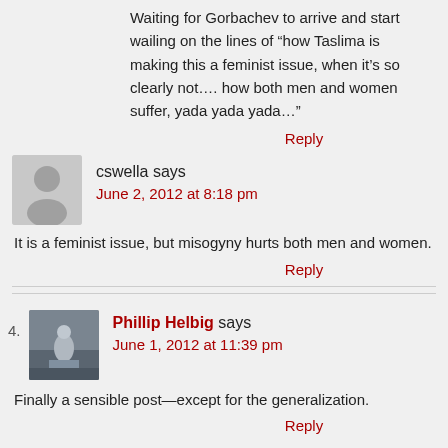Waiting for Gorbachev to arrive and start wailing on the lines of “how Taslima is making this a feminist issue, when it’s so clearly not…. how both men and women suffer, yada yada yada…”
Reply
[Figure (illustration): Grey placeholder avatar silhouette]
cswella says
June 2, 2012 at 8:18 pm
It is a feminist issue, but misogyny hurts both men and women.
Reply
4.
[Figure (photo): Profile photo of Phillip Helbig showing a person standing outdoors]
Phillip Helbig says
June 1, 2012 at 11:39 pm
Finally a sensible post—except for the generalization.
Reply